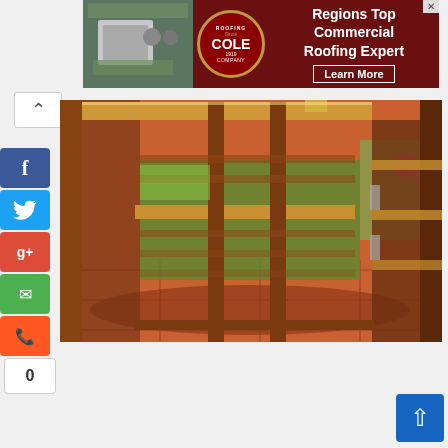[Figure (photo): Advertisement banner for Cole Roofing Company - 'Regions Top Commercial Roofing Expert - Learn More' with aerial photo of building and company logo on dark red background]
[Figure (photo): Photo of wooden pallet furniture - appears to be a bar or table set made from wooden pallets, photographed outdoors on a tiled patio with plants visible in background]
[Figure (other): Social media sharing sidebar with Facebook (blue), Twitter (blue), Google+ (red), Email (green), and Phone (orange) buttons, plus a share counter showing 0]